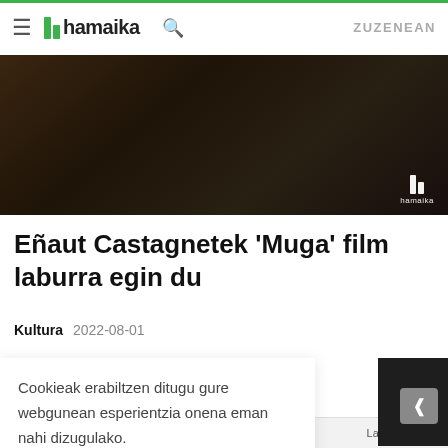hamaika — ZUZENEAN
[Figure (screenshot): Video thumbnail from hamaika TV showing a dark, dimly lit scene with the hamaika logo watermark in the bottom right corner.]
Eñaut Castagnetek 'Muga' film laburra egin du
Kultura  2022-08-01
Cookieak erabiltzen ditugu gure webgunean esperientzia onena eman nahi dizugulako.

Onartzen dut
Nortzuk gara  Nola ikusi  Publizitatea  Lan poltsa